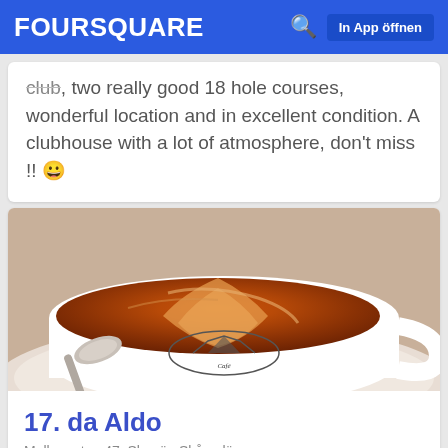FOURSQUARE  In App öffnen
club , two really good 18 hole courses, wonderful location and in excellent condition. A clubhouse with a lot of atmosphere, don't miss !! 😀
[Figure (photo): Close-up photo of a cappuccino or latte in a white cup with mountain/cafe logo, with a spoon on a saucer]
17. da Aldo
Mellangatan 47, Skanör, Skåne län